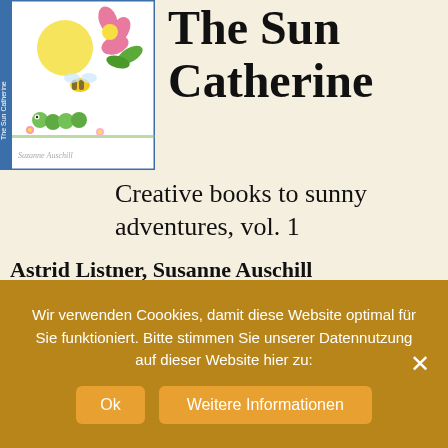[Figure (illustration): Book cover of 'The Sun Catherine' — a children's coloring book with a blue spine and illustrations of flowers, a bee, a caterpillar, and plants on a white background]
The Sun Catherine
Creative books to sunny adventures, vol. 1
Astrid Listner, Susanne Auschill (Illustrations)
Coloring book for all age groups to be creative, with illustrations from the reading book “The Sun Catherine – Quarrel in the Sky” (ISBN 978-3-95964-005-3).
Wir verwenden Coookies, damit diese Website optimal für Sie funktioniert. Bitte stimmen Sie unserer Datennutzung auf dieser Website hier zu: